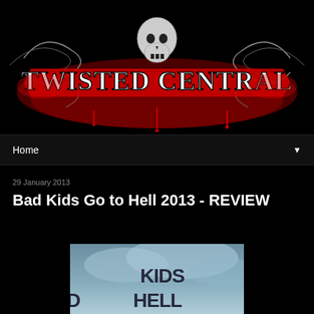[Figure (logo): Twisted Central website logo with skull and decorative horror-style lettering in red and white on black background]
Home ▼
29 January 2013
Bad Kids Go to Hell 2013 - REVIEW
[Figure (photo): Movie cover/poster for Bad Kids Go to Hell showing dark cloudy sky with the words 'KIDS HELL' visible in large letters]